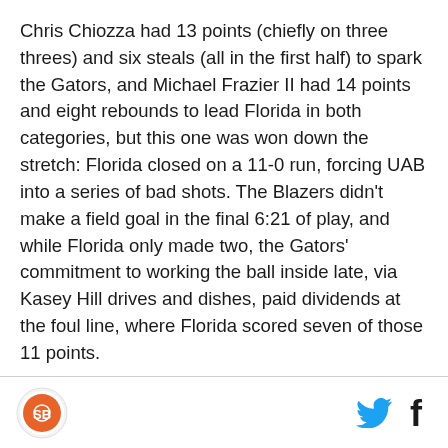Chris Chiozza had 13 points (chiefly on three threes) and six steals (all in the first half) to spark the Gators, and Michael Frazier II had 14 points and eight rebounds to lead Florida in both categories, but this one was won down the stretch: Florida closed on a 11-0 run, forcing UAB into a series of bad shots. The Blazers didn't make a field goal in the final 6:21 of play, and while Florida only made two, the Gators' commitment to working the ball inside late, via Kasey Hill drives and dishes, paid dividends at the foul line, where Florida scored seven of those 11 points.
There's still a lot for the Gators to work on, especially with North Carolina looming as the most athletic team
[SB Nation logo] [Twitter icon] [Facebook icon]